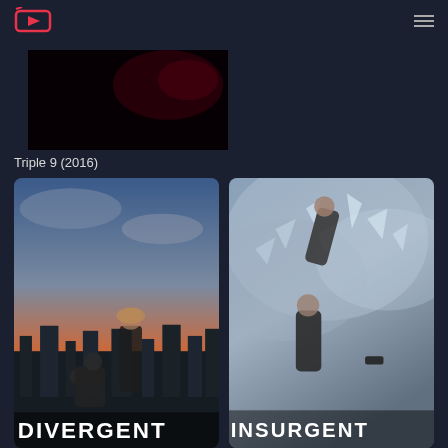TV/Video streaming app header with logo and hamburger menu
[Figure (screenshot): Movie thumbnail for Triple 9 (2016) - dark red toned image]
Triple 9 (2016)
[Figure (photo): Divergent movie poster showing two characters standing against a dystopian city skyline at sunset, with title DIVERGENT at the bottom]
[Figure (photo): Insurgent movie poster showing two characters falling/floating amid shattered glass fragments, with title INSURGENT at the bottom]